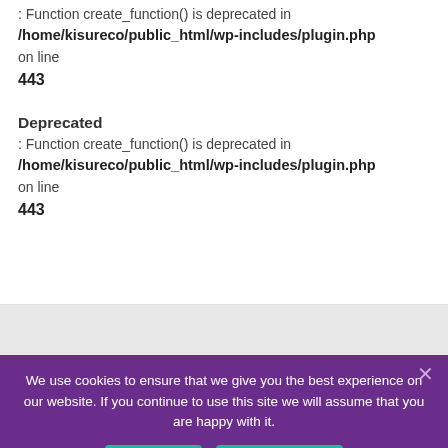: Function create_function() is deprecated in
/home/kisureco/public_html/wp-includes/plugin.php
on line
443
Deprecated
: Function create_function() is deprecated in
/home/kisureco/public_html/wp-includes/plugin.php
on line
443
We use cookies to ensure that we give you the best experience on our website. If you continue to use this site we will assume that you are happy with it.
Accept
Privacy policy